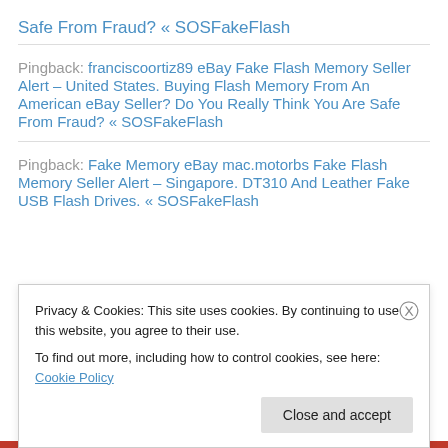Safe From Fraud? « SOSFakeFlash
Pingback: franciscoortiz89 eBay Fake Flash Memory Seller Alert – United States. Buying Flash Memory From An American eBay Seller? Do You Really Think You Are Safe From Fraud? « SOSFakeFlash
Pingback: Fake Memory eBay mac.motorbs Fake Flash Memory Seller Alert – Singapore. DT310 And Leather Fake USB Flash Drives. « SOSFakeFlash
Privacy & Cookies: This site uses cookies. By continuing to use this website, you agree to their use.
To find out more, including how to control cookies, see here: Cookie Policy